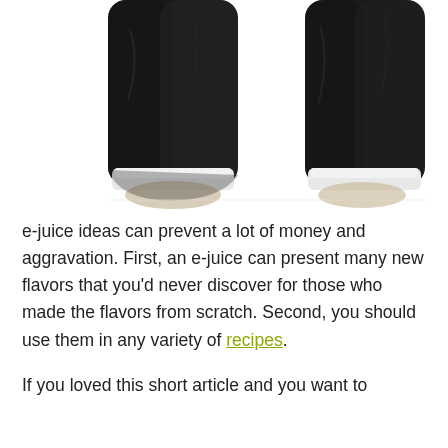[Figure (photo): Black and white photo of two arms in dark suit sleeves raised upward, white shirt cuffs visible, against white background]
e-juice ideas can prevent a lot of money and aggravation. First, an e-juice can present many new flavors that you'd never discover for those who made the flavors from scratch. Second, you should use them in any variety of recipes.
If you loved this short article and you want to